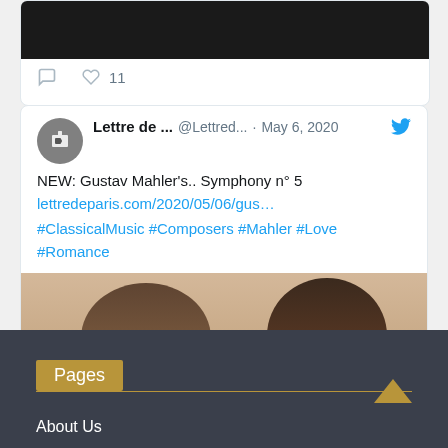[Figure (screenshot): Partial top of a tweet card showing a dark image]
11
[Figure (screenshot): Twitter/X tweet card from Lettre de ... @Lettred... May 6, 2020. NEW: Gustav Mahler's.. Symphony n° 5 lettredeparis.com/2020/05/06/gus… #ClassicalMusic #Composers #Mahler #Love #Romance with a thumbnail showing two people's heads]
Pages
About Us